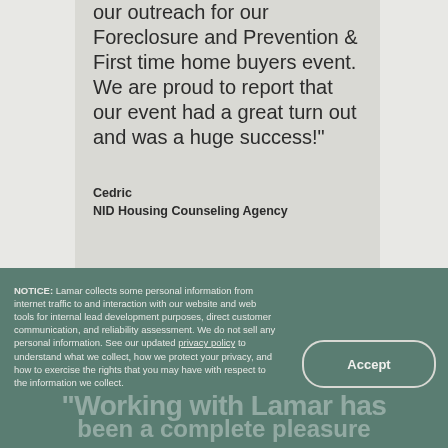our outreach for our Foreclosure and Prevention & First time home buyers event. We are proud to report that our event had a great turn out and was a huge success!"
Cedric
NID Housing Counseling Agency
NOTICE: Lamar collects some personal information from internet traffic to and interaction with our website and web tools for internal lead development purposes, direct customer communication, and reliability assessment. We do not sell any personal information. See our updated privacy policy to understand what we collect, how we protect your privacy, and how to exercise the rights that you may have with respect to the information we collect.
Accept
Working with Lamar has been a complete pleasure